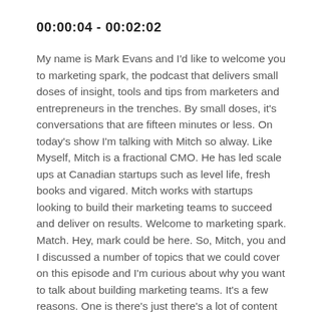00:00:04 - 00:02:02
My name is Mark Evans and I'd like to welcome you to marketing spark, the podcast that delivers small doses of insight, tools and tips from marketers and entrepreneurs in the trenches. By small doses, it's conversations that are fifteen minutes or less. On today's show I'm talking with Mitch so alway. Like Myself, Mitch is a fractional CMO. He has led scale ups at Canadian startups such as level life, fresh books and vigared. Mitch works with startups looking to build their marketing teams to succeed and deliver on results. Welcome to marketing spark. Match. Hey, mark could be here. So, Mitch, you and I discussed a number of topics that we could cover on this episode and I'm curious about why you want to talk about building marketing teams. It's a few reasons. One is there's just there's a lot of content and a lot of conversations today by boat sort of tactical marketing and marketing practices, and that's really good. But one of the questions I get most often the people don't have a lot of context